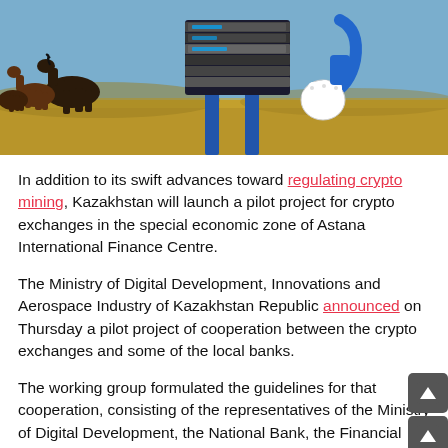[Figure (illustration): Illustration showing horses in a steppe landscape alongside a cartoon robot arm holding stacked server/mining equipment, with a blue sky background. Represents crypto mining in Kazakhstan.]
In addition to its swift advances toward regulating crypto mining, Kazakhstan will launch a pilot project for crypto exchanges in the special economic zone of Astana International Finance Centre.
The Ministry of Digital Development, Innovations and Aerospace Industry of Kazakhstan Republic announced on Thursday a pilot project of cooperation between the crypto exchanges and some of the local banks.
The working group formulated the guidelines for that cooperation, consisting of the representatives of the Ministry of Digital Development, the National Bank, the Financial Monitoring Agency, the Association of Financiers, Astana International Finance Centre and the finance and crypto